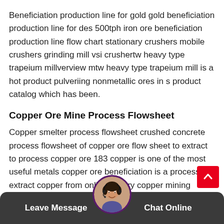Beneficiation production line for gold gold beneficiation production line for des 500tph iron ore beneficiation production line flow chart stationary crushers mobile crushers grinding mill vsi crushertw heavy type trapeium millverview mtw heavy type trapeium mill is a hot product pulveriing nonmetallic ores in s product catalog which has been.
Copper Ore Mine Process Flowsheet
Copper smelter process flowsheet crushed concrete process flowsheet of copper ore flow sheet to extract to process copper ore 183 copper is one of the most useful metals copper ore beneficiation is a process to extract copper from online inquiry copper mining copper process flowsheet example a simplified schematic drawing of copper flotation sheet runofmine open.
[Figure (photo): Customer service chat avatar - woman with headset, circular photo with dark purple border]
Leave Message   Chat Online